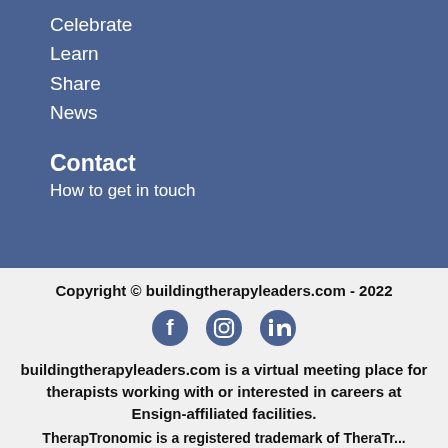Celebrate
Learn
Share
News
Contact
How to get in touch
Copyright © buildingtherapyleaders.com - 2022
[Figure (logo): Social media icons: Facebook, Instagram, LinkedIn]
buildingtherapyleaders.com is a virtual meeting place for therapists working with or interested in careers at Ensign-affiliated facilities.
TherapTronomic is a registered trademark of TheraTr...